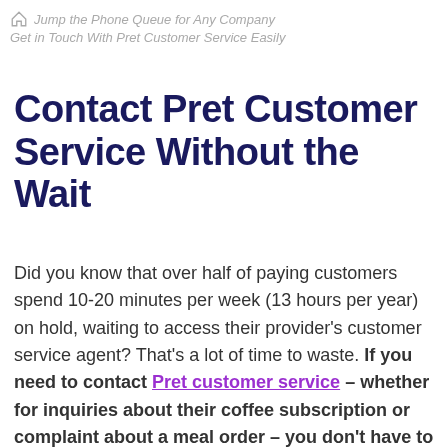Jump the Phone Queue for Any Company
Get in Touch With Pret Customer Service Easily
Contact Pret Customer Service Without the Wait
Did you know that over half of paying customers spend 10-20 minutes per week (13 hours per year) on hold, waiting to access their provider's customer service agent? That's a lot of time to waste. If you need to contact Pret customer service – whether for inquiries about their coffee subscription or complaint about a meal order – you don't have to wait on hold anymore. There's a solution.